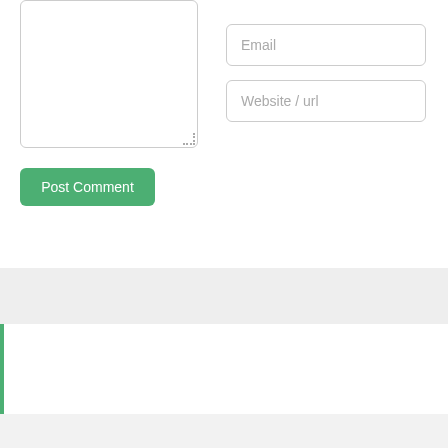[Figure (screenshot): Comment form with textarea on the left and Email and Website/url input fields on the right, a green Post Comment button below the textarea]
Email
Website / url
Post Comment
Recent Posts